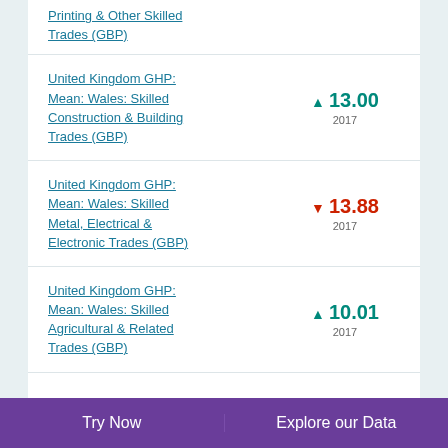Printing & Other Skilled Trades (GBP)
United Kingdom GHP: Mean: Wales: Skilled Construction & Building Trades (GBP) ▲ 13.00 2017
United Kingdom GHP: Mean: Wales: Skilled Metal, Electrical & Electronic Trades (GBP) ▼ 13.88 2017
United Kingdom GHP: Mean: Wales: Skilled Agricultural & Related Trades (GBP) ▲ 10.01 2017
Try Now    Explore our Data